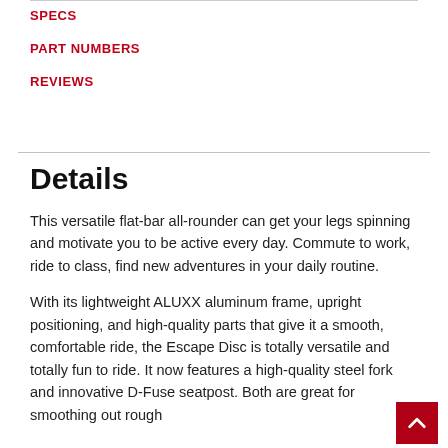SPECS
PART NUMBERS
REVIEWS
Details
This versatile flat-bar all-rounder can get your legs spinning and motivate you to be active every day. Commute to work, ride to class, find new adventures in your daily routine.
With its lightweight ALUXX aluminum frame, upright positioning, and high-quality parts that give it a smooth, comfortable ride, the Escape Disc is totally versatile and totally fun to ride. It now features a high-quality steel fork and innovative D-Fuse seatpost. Both are great for smoothing out rough